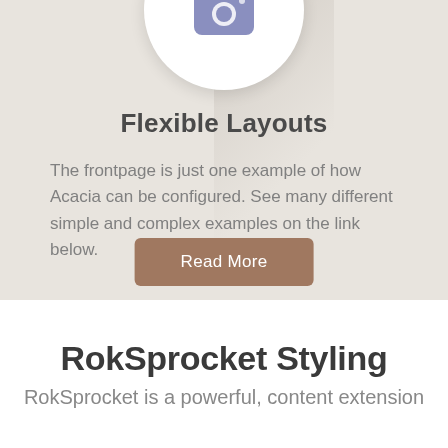[Figure (illustration): Camera icon inside a white circle on a beige/grey background]
Flexible Layouts
The frontpage is just one example of how Acacia can be configured. See many different simple and complex examples on the link below.
Read More
RokSprocket Styling
RokSprocket is a powerful, content extension